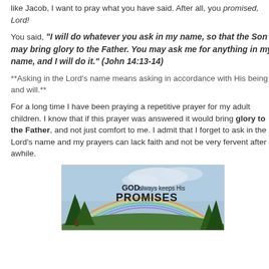like Jacob, I want to pray what you have said. After all, you promised, Lord!
You said, "I will do whatever you ask in my name, so that the Son may bring glory to the Father. You may ask me for anything in my name, and I will do it." (John 14:13-14)
**Asking in the Lord's name means asking in accordance with His being and will.**
For a long time I have been praying a repetitive prayer for my adult children. I know that if this prayer was answered it would bring glory to the Father, and not just comfort to me. I admit that I forget to ask in the Lord's name and my prayers can lack faith and not be very fervent after awhile.
[Figure (photo): Inspirational image with trees, rainbow, and sky with text 'GOD always keeps His PROMISES']